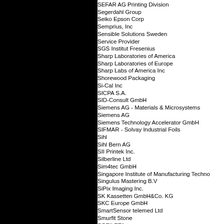SEFAR AG Printing Division
Segerdahl Group
Seiko Epson Corp
Semprius, Inc
Sensible Solutions Sweden
Service Provider
SGS Institut Fresenius
Sharp Laboratories of America
Sharp Laboratories of Europe
Sharp Labs of America Inc
Shorewood Packaging
Si-Cal Inc
SICPA S.A.
SID-Consult GmbH
Siemens AG - Materials & Microsystems
Siemens AG
Siemens Technology Accelerator GmbH
SIFMAR - Solvay Industrial Foils
Sihl
Sihl Bern AG
SII Printek Inc.
Silberline Ltd
Sim4tec GmbH
Singapore Institute of Manufacturing Techno
Singulus Mastering B.V
SiPix Imaging Inc.
SK Kassetten GmbH&Co. KG
SKC Europe GmbH
SmartSensor telemed Ltd
Smurfit Stone
SOFILETA
Sofinnova Partners
Sofinnova Machine Co Ltd